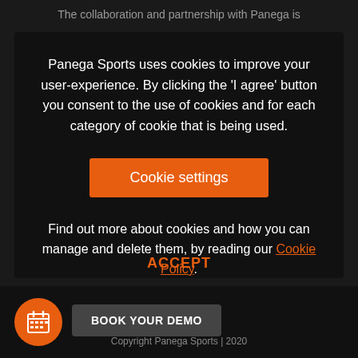The collaboration and partnership with Panega is
Panega Sports uses cookies to improve your user-experience. By clicking the 'I agree' button you consent to the use of cookies and for each category of cookie that is being used.
Cookie settings
Find out more about cookies and how you can manage and delete them, by reading our Cookie Policy.
ACCEPT
BOOK YOUR DEMO
Copyright Panega Sports | 2020